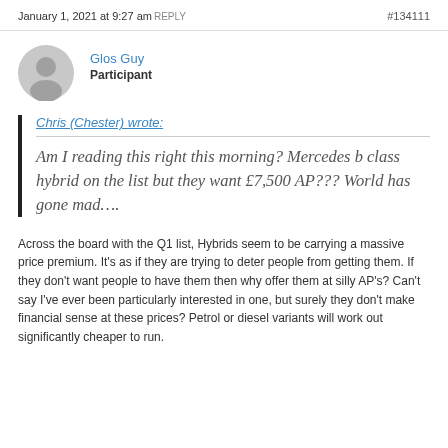January 1, 2021 at 9:27 am REPLY #134111
Glos Guy
Participant
Chris (Chester) wrote:
Am I reading this right this morning? Mercedes b class hybrid on the list but they want £7,500 AP??? World has gone mad....
Across the board with the Q1 list, Hybrids seem to be carrying a massive price premium. It's as if they are trying to deter people from getting them. If they don't want people to have them then why offer them at silly AP's? Can't say I've ever been particularly interested in one, but surely they don't make financial sense at these prices? Petrol or diesel variants will work out significantly cheaper to run.